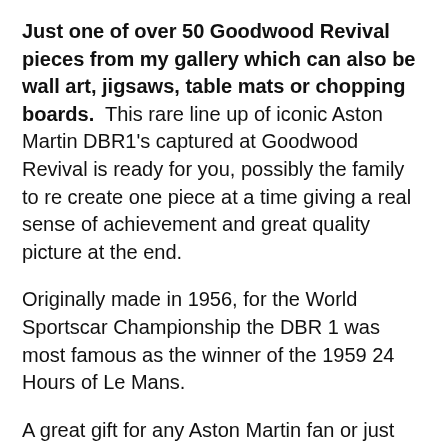Just one of over 50 Goodwood Revival pieces from my gallery which can also be wall art, jigsaws, table mats or chopping boards. This rare line up of iconic Aston Martin DBR1's captured at Goodwood Revival is ready for you, possibly the family to re create one piece at a time giving a real sense of achievement and great quality picture at the end.

Originally made in 1956, for the World Sportscar Championship the DBR 1 was most famous as the winner of the 1959 24 Hours of Le Mans.

A great gift for any Aston Martin fan or just some self indulgence, never be bored over the winter, simply choose your favourite from my gallery of over 100 iconic motoring designs which I will then print for you as a 1000, 500 or 250 size jigsaw using high quality materials shipped to your door.